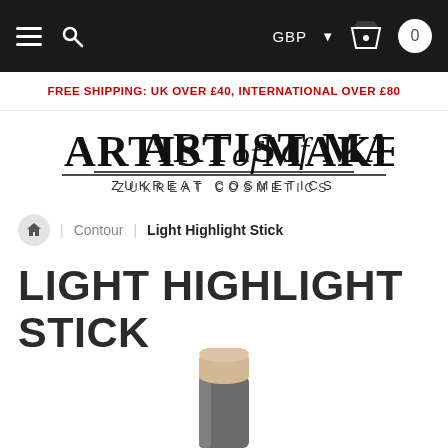≡ 🔍  GBP ▾ 🛒 0
FREE SHIPPING: UK OVER £40, INTERNATIONAL OVER £80
[Figure (logo): Artist of Makeup – Zukreat Cosmetics logo]
🏠 | Contour | Light Highlight Stick
LIGHT HIGHLIGHT STICK
[Figure (photo): Light highlight stick cosmetic product, grey cylindrical casing with beige/nude stick tip protruding from top]